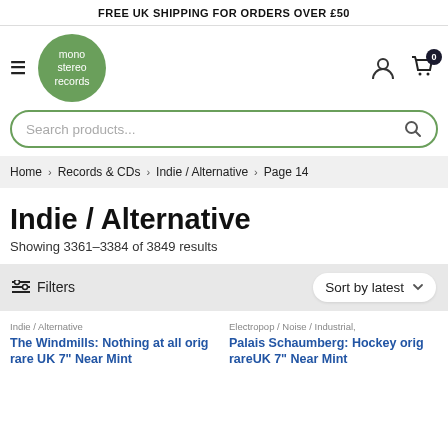FREE UK SHIPPING FOR ORDERS OVER £50
[Figure (logo): mono stereo records green circle logo with hamburger menu icon, user icon, and cart icon with badge 0]
Search products...
Home > Records & CDs > Indie / Alternative > Page 14
Indie / Alternative
Showing 3361–3384 of 3849 results
Filters   Sort by latest
Indie / Alternative
The Windmills: Nothing at all orig rare UK 7" Near Mint
Electropop / Noise / Industrial,
Palais Schaumberg: Hockey orig rareUK 7" Near Mint